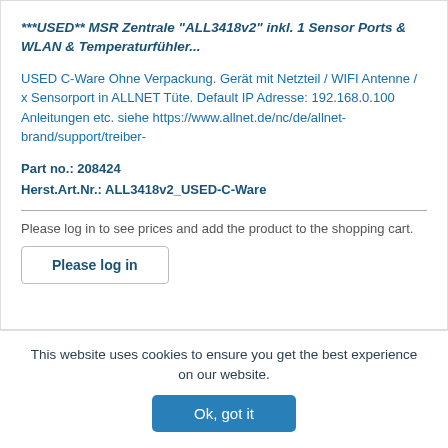***USED** MSR Zentrale "ALL3418v2" inkl. 1 Sensor Ports & WLAN & Temperaturfühler...
USED C-Ware Ohne Verpackung. Gerät mit Netzteil / WIFI Antenne / x Sensorport in ALLNET Tüte. Default IP Adresse: 192.168.0.100 Anleitungen etc. siehe https://www.allnet.de/nc/de/allnet-brand/support/treiber-
Part no.: 208424
Herst.Art.Nr.: ALL3418v2_USED-C-Ware
Please log in to see prices and add the product to the shopping cart.
Please log in
This website uses cookies to ensure you get the best experience on our website.
Ok, got it